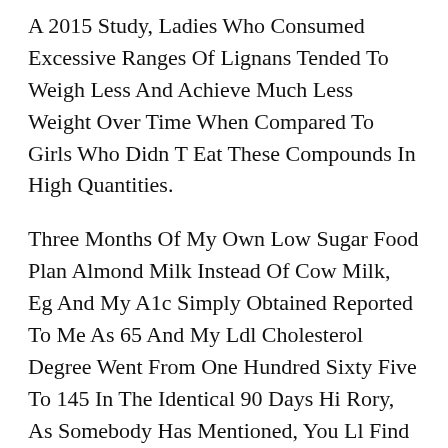A 2015 Study, Ladies Who Consumed Excessive Ranges Of Lignans Tended To Weigh Less And Achieve Much Less Weight Over Time When Compared To Girls Who Didn T Eat These Compounds In High Quantities.
Three Months Of My Own Low Sugar Food Plan Almond Milk Instead Of Cow Milk, Eg And My A1c Simply Obtained Reported To Me As 65 And My Ldl Cholesterol Degree Went From One Hundred Sixty Five To 145 In The Identical 90 Days Hi Rory, As Somebody Has Mentioned, You Ll Find A Way To Attempt Healthier Substitutions But There Actually Exist Points Similar To Meals Addictions, And These Could Additionally Be Best Addressed With A Psychiatrist, Therapist Or A Specifically Trained Nutritionist Who May Help You Re Employed Through It I Don T Know Your Case, But For Others, Overeating Or Overeating Sure Meals Is Self Medication, As It May